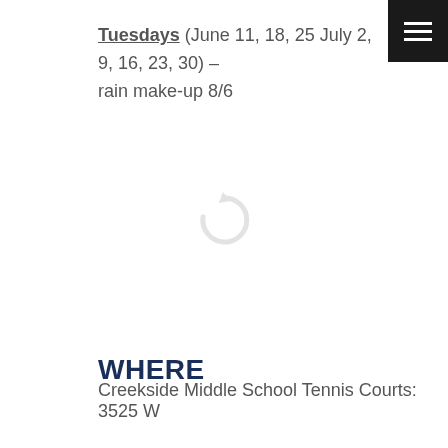Tuesdays (June 11, 18, 25 July 2, 9, 16, 23, 30) – rain make-up 8/6
[Figure (other): Loading spinner icon (circular arrow) indicating content is loading]
WHERE
Creekside Middle School Tennis Courts: 3525 W